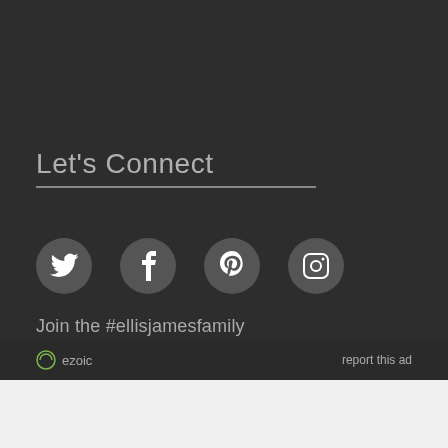Let's Connect
[Figure (illustration): Row of four social media icons: Twitter (bird), Facebook (f), Pinterest (p), Instagram (camera) — white icons on dark circular backgrounds]
Join the #ellisjamesfamily
ezoic  report this ad